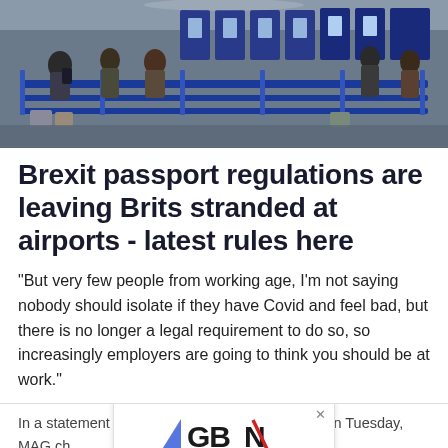[Figure (photo): Airport check-in hall with travelers queuing at kiosks behind blue barriers, overhead view showing luggage and crowds]
Brexit passport regulations are leaving Brits stranded at airports - latest rules here
"But very few people from working age, I'm not saying nobody should isolate if they have Covid and feel bad, but there is no longer a legal requirement to do so, so increasingly employers are going to think you should be at work."
In a statement following Ms Smart's resignation on Tuesday, MAG ch... ast two years, K... he ...
[Figure (logo): GB News - Britain's News Channel advertisement overlay]